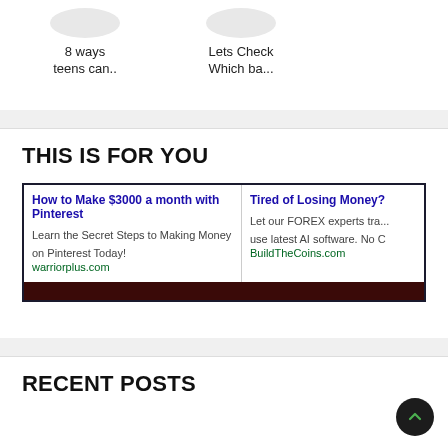8 ways teens can..
Lets Check Which ba...
THIS IS FOR YOU
[Figure (screenshot): Ad box with two ads: Left ad titled 'How to Make $3000 a month with Pinterest' with body text 'Learn the Secret Steps to Making Money on Pinterest Today!' and source warriorplus.com. Right ad titled 'Tired of Losing Money?' with body text 'Let our FOREX experts tra... use latest AI software. No C' and source BuildTheCoins.com. Dark maroon bar at bottom.]
RECENT POSTS